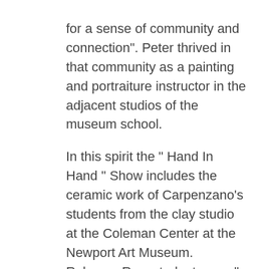for a sense of community and connection". Peter thrived in that community as a painting and portraiture instructor in the adjacent studios of the museum school. In this spirit the " Hand In Hand " Show includes the ceramic work of Carpenzano's students from the clay studio at the Coleman Center at the Newport Art Museum. Rebecca Rex, student, says " Our group of artists from R.I. and beyond are diverse in age, background, technique and creative vision. The glue that holds it together is friendship, support of experimentation and Charlene Carpenzano, encouraging each of us, with teaching techniques and sharing her wisdom and joy of the creative process". " Peter's inspiration ranges from architectural landscapes to the enchantment of a forest. He